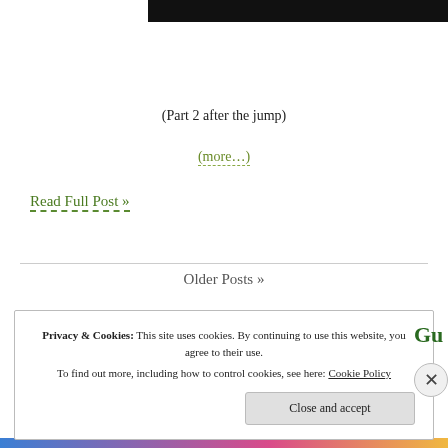[Figure (other): Black bar at top, partial image header]
(Part 2 after the jump)
(more...)
Read Full Post »
Older Posts »
Privacy & Cookies: This site uses cookies. By continuing to use this website, you agree to their use.
To find out more, including how to control cookies, see here: Cookie Policy
Close and accept